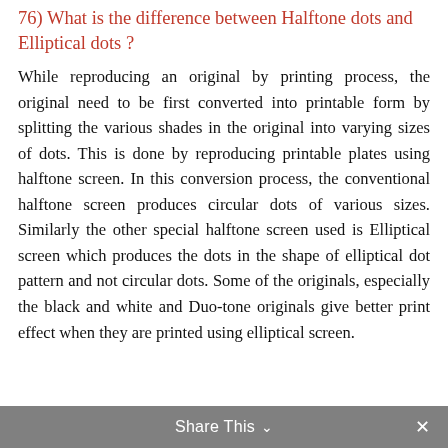76) What is the difference between Halftone dots and Elliptical dots ?
While reproducing an original by printing process, the original need to be first converted into printable form by splitting the various shades in the original into varying sizes of dots. This is done by reproducing printable plates using halftone screen. In this conversion process, the conventional halftone screen produces circular dots of various sizes. Similarly the other special halftone screen used is Elliptical screen which produces the dots in the shape of elliptical dot pattern and not circular dots. Some of the originals, especially the black and white and Duo-tone originals give better print effect when they are printed using elliptical screen.
Share This ∨  ✕